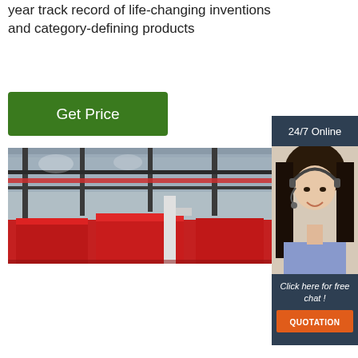year track record of life-changing inventions and category-defining products
[Figure (other): Green 'Get Price' button]
[Figure (photo): Factory interior showing industrial machinery with red equipment and steel structure ceiling]
[Figure (other): 24/7 Online customer service sidebar with agent photo, 'Click here for free chat!' text, and orange QUOTATION button]